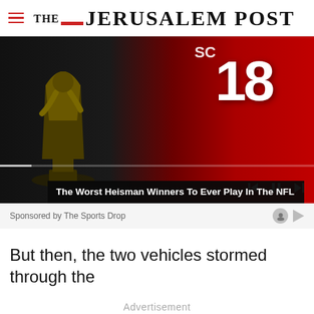THE JERUSALEM POST
[Figure (screenshot): Video thumbnail showing a football player in red jersey number 18 with a Heisman trophy, with video playback controls visible]
The Worst Heisman Winners To Ever Play In The NFL
Sponsored by The Sports Drop
But then, the two vehicles stormed through the
Advertisement